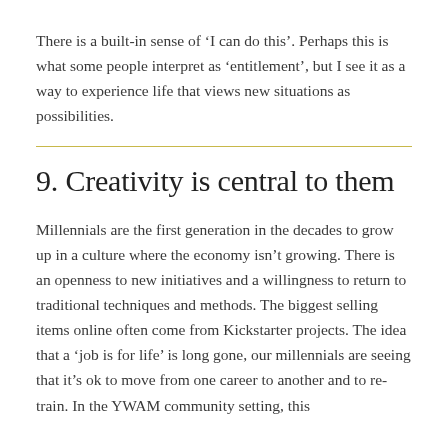There is a built-in sense of ‘I can do this’. Perhaps this is what some people interpret as ‘entitlement’, but I see it as a way to experience life that views new situations as possibilities.
9. Creativity is central to them
Millennials are the first generation in the decades to grow up in a culture where the economy isn’t growing. There is an openness to new initiatives and a willingness to return to traditional techniques and methods. The biggest selling items online often come from Kickstarter projects. The idea that a ‘job is for life’ is long gone, our millennials are seeing that it’s ok to move from one career to another and to re-train. In the YWAM community setting, this